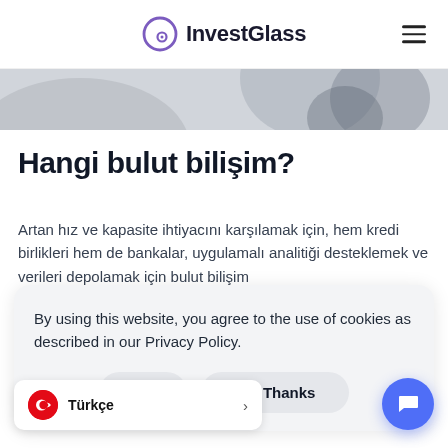InvestGlass
[Figure (photo): Partial hero image at top of page showing blurred background]
Hangi bulut bilişim?
Artan hız ve kapasite ihtiyacını karşılamak için, hem kredi birlikleri hem de bankalar, uygulamalı analitiği desteklemek ve verileri depolamak için bulut bilişim
By using this website, you agree to the use of cookies as described in our Privacy Policy.
Ok    No, Thanks
Türkçe
r sunar. Hizmet olarak